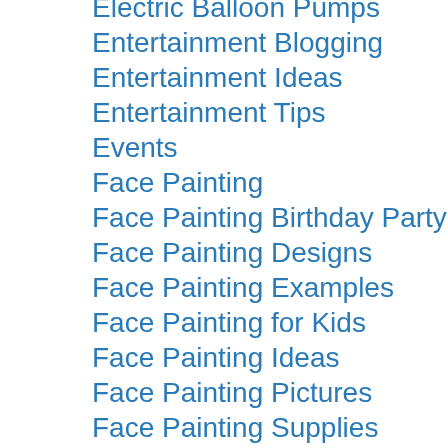Electric Balloon Pumps
Entertainment Blogging
Entertainment Ideas
Entertainment Tips
Events
Face Painting
Face Painting Birthday Party
Face Painting Designs
Face Painting Examples
Face Painting for Kids
Face Painting Ideas
Face Painting Pictures
Face Painting Supplies
Floor Pumps
Golf Tips